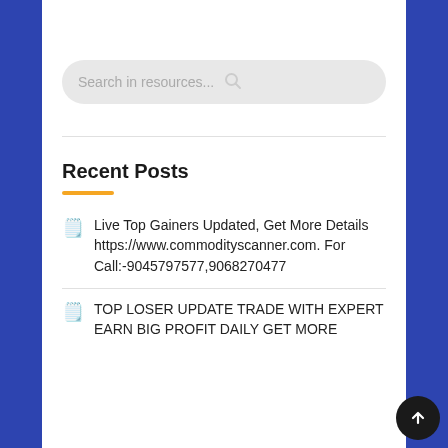[Figure (screenshot): Search bar with placeholder text 'Search in resources...' and a magnifier icon, on a gray rounded pill background]
Recent Posts
Live Top Gainers Updated, Get More Details https://www.commodityscanner.com. For Call:-9045797577,9068270477
TOP LOSER UPDATE TRADE WITH EXPERT EARN BIG PROFIT DAILY GET MORE